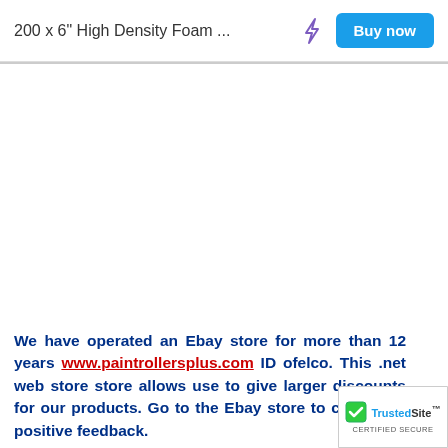200 x 6" High Density Foam ...
We have operated an Ebay store for more than 12 years www.paintrollersplus.com ID ofelco. This .net web store store allows use to give larger discounts for our products. Go to the Ebay store to check our positive feedback.
[Figure (logo): TrustedSite Certified Secure badge with green checkmark]